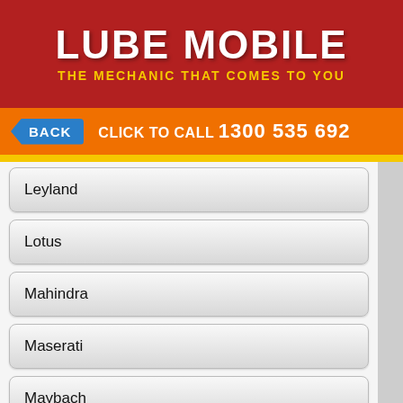[Figure (logo): Lube Mobile logo with red background, white bold text 'LUBE MOBILE' and yellow tagline 'THE MECHANIC THAT COMES TO YOU']
BACK   CLICK TO CALL 1300 535 692
Leyland
Lotus
Mahindra
Maserati
Maybach
Mazda
Mclaren
Mercedes Benz